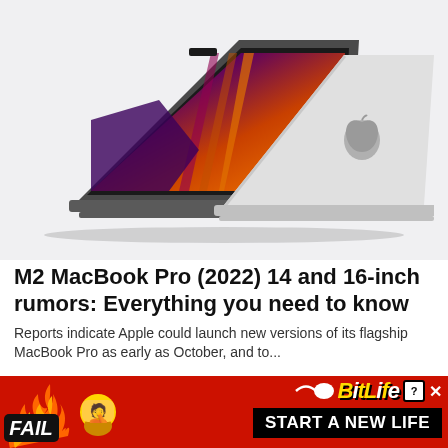[Figure (photo): Two MacBook Pro laptops shown back-to-back on a light gray background — one space gray (open, showing colorful display with purple/orange gradient wallpaper) and one silver (closed, showing Apple logo on lid).]
M2 MacBook Pro (2022) 14 and 16-inch rumors: Everything you need to know
Reports indicate Apple could launch new versions of its flagship MacBook Pro as early as October, and to...
[Figure (photo): BitLife advertisement banner with red/orange fire background, FAIL badge with facepalm emoji, fire flames, sperm-cell mascot, BitLife logo in yellow italic text, question mark box, X close button, and 'START A NEW LIFE' text on black background.]